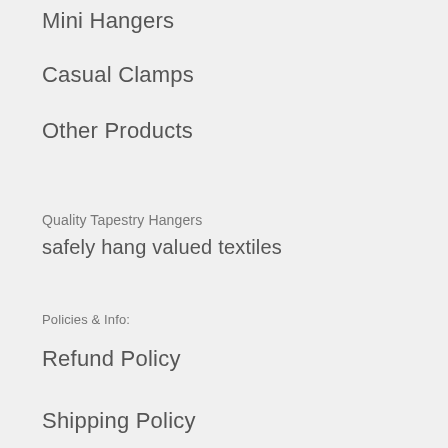Mini Hangers
Casual Clamps
Other Products
Quality Tapestry Hangers
safely hang valued textiles
Policies & Info:
Refund Policy
Shipping Policy